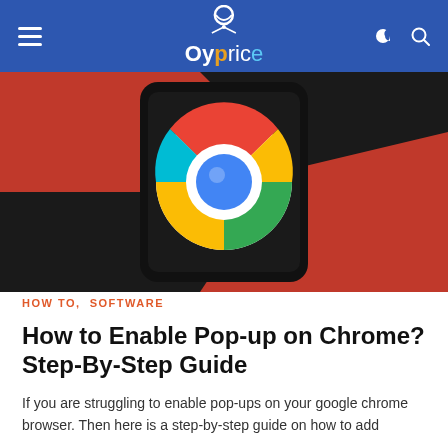≡  Oyprice  🌙 🔍
[Figure (photo): A smartphone displaying the Google Chrome logo (colorful circle with red, green, yellow, and blue) on its screen, placed on a red background]
HOW TO,  SOFTWARE
How to Enable Pop-up on Chrome? Step-By-Step Guide
If you are struggling to enable pop-ups on your google chrome browser. Then here is a step-by-step guide on how to add